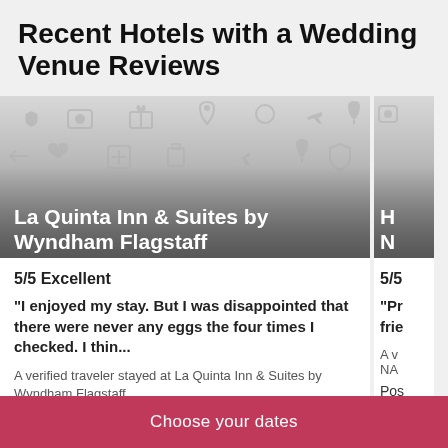Recent Hotels with a Wedding Venue Reviews
[Figure (photo): Hotel card image placeholder with gray background and travel-related icons. Hotel name 'La Quinta Inn & Suites by Wyndham Flagstaff' overlaid at bottom.]
5/5 Excellent
"I enjoyed my stay. But I was disappointed that there were never any eggs the four times I checked. I thin...
A verified traveler stayed at La Quinta Inn & Suites by Wyndham Flagstaff
Posted 1 day ago
[Figure (photo): Partial hotel card showing gray image placeholder and truncated hotel name starting with 'H' and 'N'. Rating shows 5/5 and partial review text starting with 'Pr...frie...']